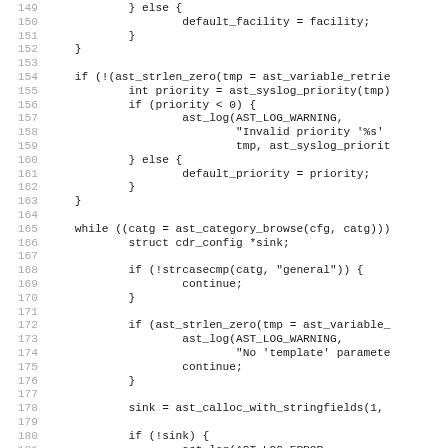[Figure (screenshot): Source code listing showing C code lines 149-181, monospace font with line numbers in grey on the left and code on the right.]